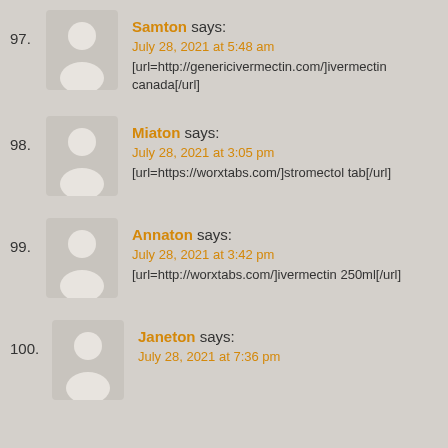97. Samton says:
July 28, 2021 at 5:48 am
[url=http://genericivermectin.com/]ivermectin canada[/url]
98. Miaton says:
July 28, 2021 at 3:05 pm
[url=https://worxtabs.com/]stromectol tab[/url]
99. Annaton says:
July 28, 2021 at 3:42 pm
[url=http://worxtabs.com/]ivermectin 250ml[/url]
100. Janeton says:
July 28, 2021 at 7:36 pm